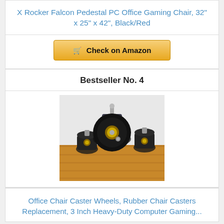X Rocker Falcon Pedestal PC Office Gaming Chair, 32" x 25" x 42", Black/Red
Check on Amazon
Bestseller No. 4
[Figure (photo): Photo of office chair caster wheels - black rubber replacement casters for office chairs, set of 5, shown on a wooden floor background]
Office Chair Caster Wheels, Rubber Chair Casters Replacement, 3 Inch Heavy-Duty Computer Gaming...